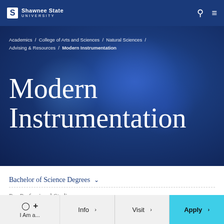Shawnee State University
Academics / College of Arts and Sciences / Natural Sciences / Advising & Resources / Modern Instrumentation
Modern Instrumentation
Bachelor of Science Degrees
Pre-Professional Studies
I Am a...  Info  Visit  Apply